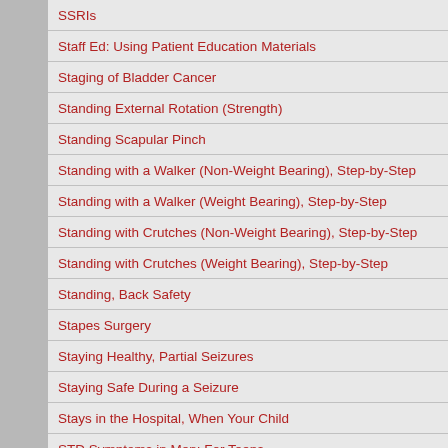SSRIs
Staff Ed: Using Patient Education Materials
Staging of Bladder Cancer
Standing External Rotation (Strength)
Standing Scapular Pinch
Standing with a Walker (Non-Weight Bearing), Step-by-Step
Standing with a Walker (Weight Bearing), Step-by-Step
Standing with Crutches (Non-Weight Bearing), Step-by-Step
Standing with Crutches (Weight Bearing), Step-by-Step
Standing, Back Safety
Stapes Surgery
Staying Healthy, Partial Seizures
Staying Safe During a Seizure
Stays in the Hospital, When Your Child
STD Symptoms in Men: For Teens
STD Symptoms in Women: For Teens
STD, If You Think You Have